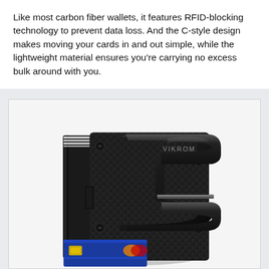Like most carbon fiber wallets, it features RFID-blocking technology to prevent data loss. And the C-style design makes moving your cards in and out simple, while the lightweight material ensures you're carrying no excess bulk around with you.
[Figure (photo): A black carbon fiber wallet with RFID-blocking technology. The wallet shows a C-style design with a metal clip mechanism labeled VIKROM. The carbon fiber weave pattern is visible on the surface, and a blue card is partially visible at the bottom.]